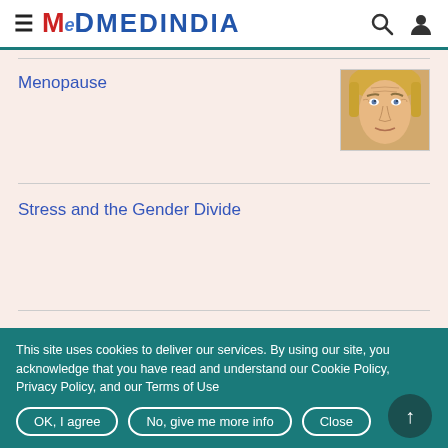MEDINDIA
Menopause
[Figure (photo): Close-up photo of an older woman's face with blonde hair]
Stress and the Gender Divide
Vaginitis
This site uses cookies to deliver our services. By using our site, you acknowledge that you have read and understand our Cookie Policy, Privacy Policy, and our Terms of Use